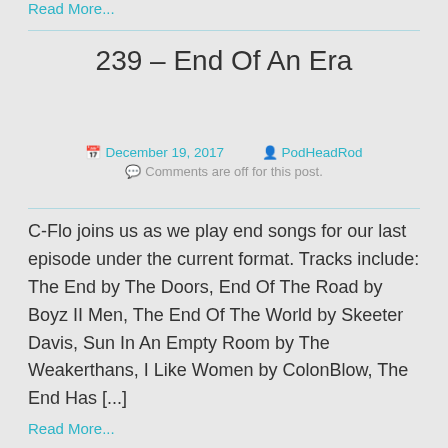Read More...
239 – End Of An Era
December 19, 2017   PodHeadRod
Comments are off for this post.
C-Flo joins us as we play end songs for our last episode under the current format. Tracks include: The End by The Doors, End Of The Road by Boyz II Men, The End Of The World by Skeeter Davis, Sun In An Empty Room by The Weakerthans, I Like Women by ColonBlow, The End Has [...]
Read More...